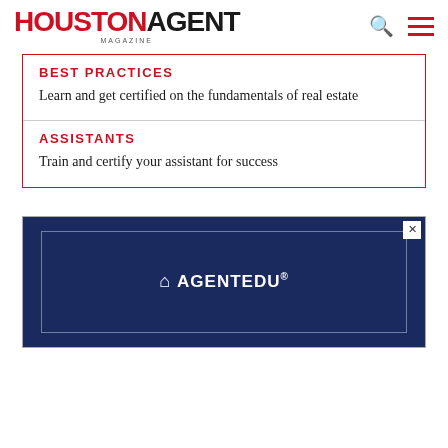HOUSTON AGENT MAGAZINE
BEST PRACTICES
Learn and get certified on the fundamentals of real estate
ASSISTANTS
Train and certify your assistant for success
[Figure (infographic): AGENTEDU advertisement banner on dark navy blue background with inner white border outline and close button (X) in top right corner]